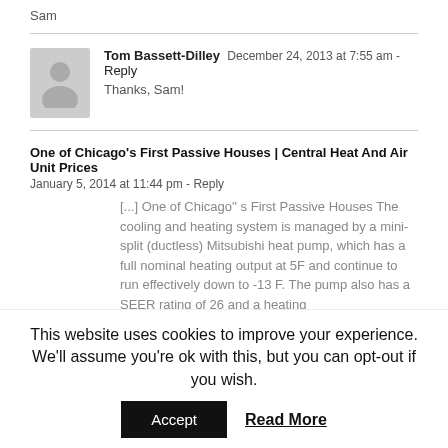Sam
Tom Bassett-Dilley  December 24, 2013 at 7:55 am - Reply
Thanks, Sam!
One of Chicago's First Passive Houses | Central Heat And Air Unit Prices
January 5, 2014 at 11:44 pm - Reply
[...] One of Chicago'' s First Passive Houses The cooling and heating system is managed by a mini-split (ductless) Mitsubishi heat pump, which has a full nominal heating output at 5F and continue to run effectively down to -13 F. The pump also has a SEER rating of 26 and a heating
This website uses cookies to improve your experience. We'll assume you're ok with this, but you can opt-out if you wish.